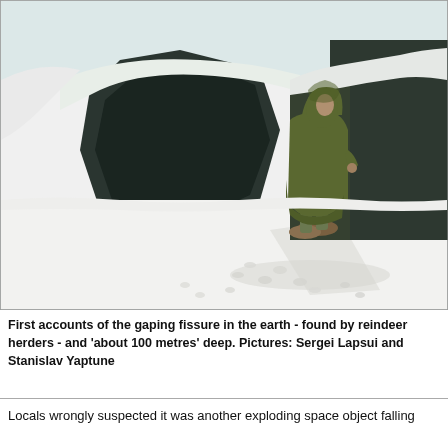[Figure (photo): A person wearing a long olive/khaki hooded coat stands on a snow-covered landscape near a large dark fissure or crevasse in the earth. Footprints are visible in the snow in the foreground. The background shows snowy terrain and dark cliffs or forest.]
First accounts of the gaping fissure in the earth - found by reindeer herders - and 'about 100 metres' deep.  Pictures: Sergei Lapsui and Stanislav Yaptune
Locals wrongly suspected it was another exploding space object falling